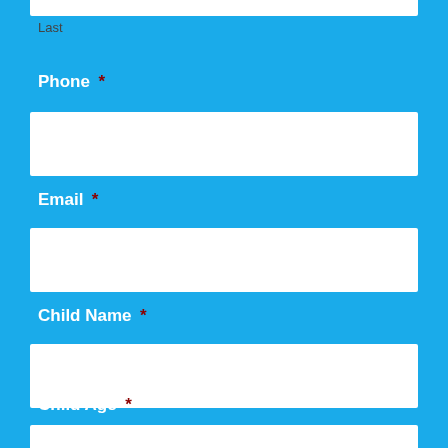Last
Phone *
Email *
Child Name *
Child Age *